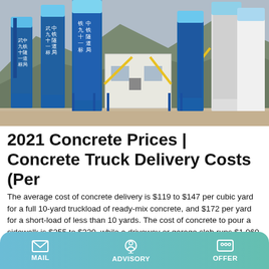[Figure (photo): Photo of a concrete batching plant with blue and white silos/cylinders with Chinese characters, yellow structural supports, a white control building in the center, set against a rocky mountain backdrop.]
2021 Concrete Prices | Concrete Truck Delivery Costs (Per
The average cost of concrete delivery is $119 to $147 per cubic yard for a full 10-yard truckload of ready-mix concrete, and $172 per yard for a short-load of less than 10 yards. The cost of concrete to pour a sidewalk is $255 to $320, while a driveway or garage slab runs $1,060 to $1,270. Get free cost estimates from concrete contractors near you.
MAIL   ADVISORY   OFFER